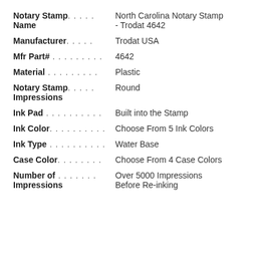Notary Stamp..... North Carolina Notary Stamp Name - Trodat 4642
Manufacturer..... Trodat USA
Mfr Part#.......... 4642
Material............ Plastic
Notary Stamp..... Round Impressions
Ink Pad............ Built into the Stamp
Ink Color........... Choose From 5 Ink Colors
Ink Type............ Water Base
Case Color......... Choose From 4 Case Colors
Number of......... Over 5000 Impressions Impressions Before Re-inking